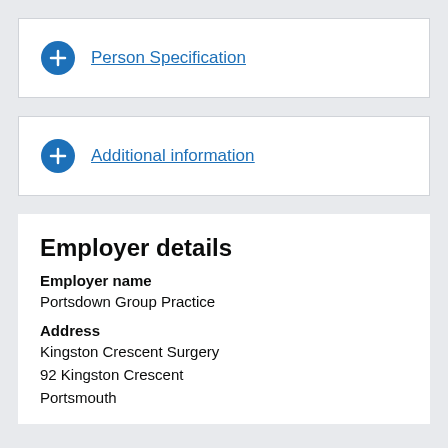Person Specification
Additional information
Employer details
Employer name
Portsdown Group Practice
Address
Kingston Crescent Surgery
92 Kingston Crescent
Portsmouth